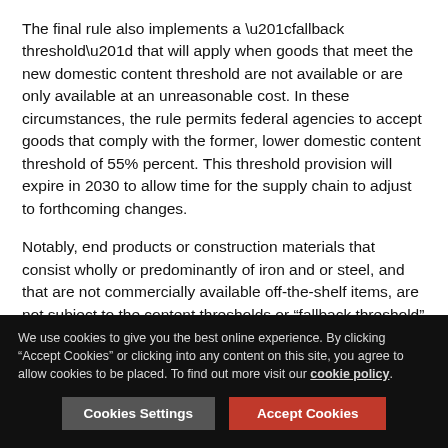The final rule also implements a “fallback threshold” that will apply when goods that meet the new domestic content threshold are not available or are only available at an unreasonable cost. In these circumstances, the rule permits federal agencies to accept goods that comply with the former, lower domestic content threshold of 55% percent. This threshold provision will expire in 2030 to allow time for the supply chain to adjust to forthcoming changes.
Notably, end products or construction materials that consist wholly or predominantly of iron and or steel, and that are not commercially available off-the-shelf items, are not subject to the content thresholds or “fallback threshold” outlined in the final rule.
In another provision that takes effect Oct. 25, 2022, the FAR Council will enact higher price preferences for certain
We use cookies to give you the best online experience. By clicking “Accept Cookies” or clicking into any content on this site, you agree to allow cookies to be placed. To find out more visit our cookie policy.